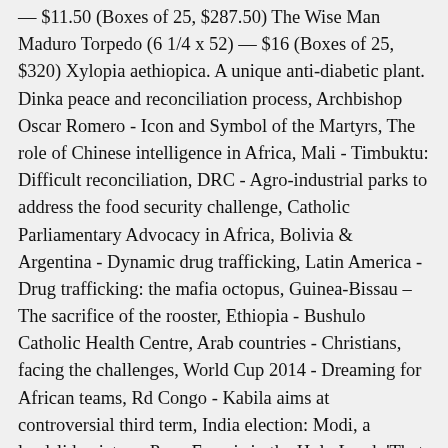— $11.50 (Boxes of 25, $287.50) The Wise Man Maduro Torpedo (6 1/4 x 52) — $16 (Boxes of 25, $320) Xylopia aethiopica. A unique anti-diabetic plant. Dinka peace and reconciliation process, Archbishop Oscar Romero - Icon and Symbol of the Martyrs, The role of Chinese intelligence in Africa, Mali - Timbuktu: Difficult reconciliation, DRC - Agro-industrial parks to address the food security challenge, Catholic Parliamentary Advocacy in Africa, Bolivia & Argentina - Dynamic drug trafficking, Latin America - Drug trafficking: the mafia octopus, Guinea-Bissau – The sacrifice of the rooster, Ethiopia - Bushulo Catholic Health Centre, Arab countries - Christians, facing the challenges, World Cup 2014 - Dreaming for African teams, Rd Congo - Kabila aims at controversial third term, India election: Modi, a landslide victory, Pope Francis in the Holy Land: 'That all may be one', Nigeria - This elephant will not only stir, African Myths. Carnival In Mexico. After the celebration of the Mass, people start dancing to the rhythm of marimbas, drums and to the sound of whistles. The traditional festivities of the city of Diriamba, interesting for the dances of the